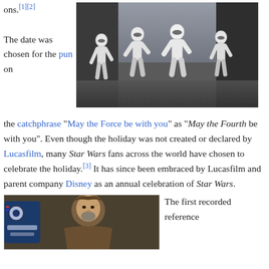ons.[1][2]
[Figure (photo): Four Star Wars Stormtroopers dancing in a city alley street, wearing white armor suits and holding weapons.]
The date was chosen for the pun on the catchphrase “May the Force be with you” as “May the Fourth be with you”. Even though the holiday was not created or declared by Lucasfilm, many Star Wars fans across the world have chosen to celebrate the holiday.[3] It has since been embraced by Lucasfilm and parent company Disney as an annual celebration of Star Wars.
[Figure (photo): A bearded man in brown Jedi robes holding R2-D2 droid, resembling an Obi-Wan Kenobi character from Star Wars.]
The first recorded reference